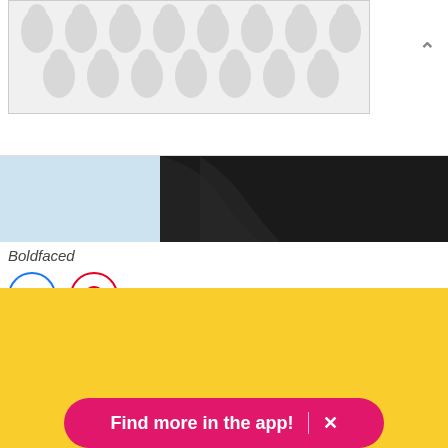[Figure (other): Ad banner with polka dot/teardrop pattern in gray on light gray background]
[Figure (photo): Partial product photo showing dark hair against light blue background]
Boldfaced
[Figure (other): Social sharing icons: Facebook (blue circle) and Pinterest (red circle)]
Get it from Boldfaced on Etsy for $11.
[Figure (other): Yellow promotional banner section with pink 'Find more in the app!' call-to-action button with X close icon]